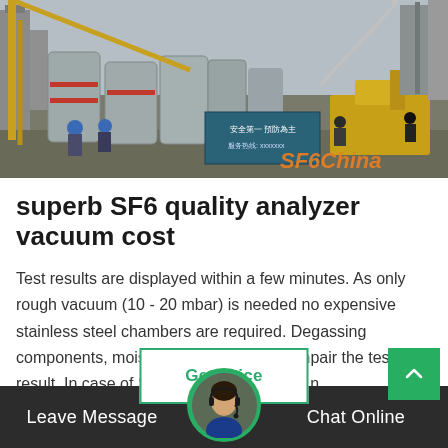[Figure (photo): Industrial scene showing large gray cylindrical equipment being installed at a substation site with yellow cranes and workers in hard hats. 'SF6China' watermark in orange text at bottom right.]
superb SF6 quality analyzer vacuum cost
Test results are displayed within a few minutes. As only rough vacuum (10 - 20 mbar) is needed no expensive stainless steel chambers are required. Degassing components, moisture and heat do not impair the test result. In case of SF 6 -filled components n…
Leave Message  Chat Online